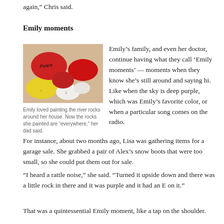again,” Chris said.
Emily moments
[Figure (photo): Painted river rocks in red, yellow, and white colors. One red rock reads 'Peace'.]
Emily loved painting the river rocks around her house. Now the rocks she painted are “everywhere,” her dad said.
Emily’s family, and even her doctor, continue having what they call ‘Emily moments’ — moments when they know she’s still around and saying hi. Like when the sky is deep purple, which was Emily’s favorite color, or when a particular song comes on the radio.
For instance, about two months ago, Lisa was gathering items for a garage sale. She grabbed a pair of Alex’s snow boots that were too small, so she could put them out for sale.
“I heard a rattle noise,” she said. “Turned it upside down and there was a little rock in there and it was purple and it had an E on it.”
That was a quintessential Emily moment, like a tap on the shoulder.